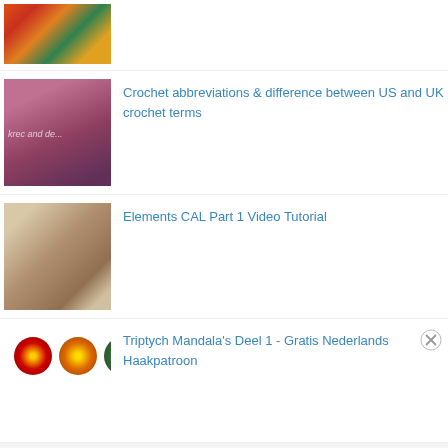[Figure (photo): Colorful crochet mandala circles, partially visible at top]
[Figure (photo): Crochet items with text overlay, pink and purple tones]
Crochet abbreviations & difference between US and UK crochet terms
[Figure (photo): Brown crochet square with star/diamond pattern]
Elements CAL Part 1 Video Tutorial
[Figure (photo): Three crochet mandalas in red, yellow, and green]
Triptych Mandala's Deel 1 - Gratis Nederlands Haakpatroon
Advertisements
[Figure (photo): Suite Sleepovers advertisement banner - The D Las Vegas - Book Now]